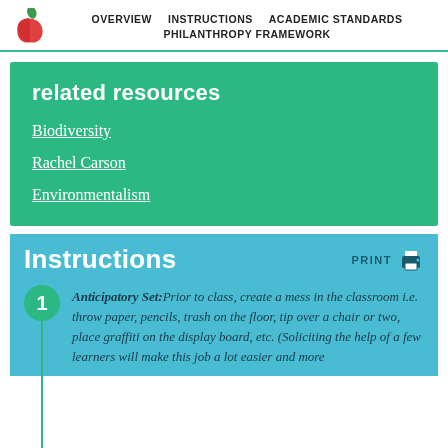OVERVIEW  INSTRUCTIONS  ACADEMIC STANDARDS  PHILANTHROPY FRAMEWORK
related resources
Biodiversity
Rachel Carson
Environmentalism
Instructions
Anticipatory Set: Prior to class, create a mess in the classroom i.e. throw paper, pencils, trash on the floor, tip over a chair or two, place graffiti on the display board, etc. (Soliciting the help of a few learners will make this job a lot easier and more